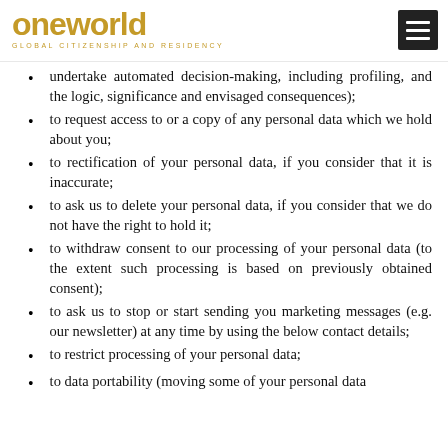oneworld GLOBAL CITIZENSHIP AND RESIDENCY
undertake automated decision-making, including profiling, and the logic, significance and envisaged consequences);
to request access to or a copy of any personal data which we hold about you;
to rectification of your personal data, if you consider that it is inaccurate;
to ask us to delete your personal data, if you consider that we do not have the right to hold it;
to withdraw consent to our processing of your personal data (to the extent such processing is based on previously obtained consent);
to ask us to stop or start sending you marketing messages (e.g. our newsletter) at any time by using the below contact details;
to restrict processing of your personal data;
to data portability (moving some of your personal data